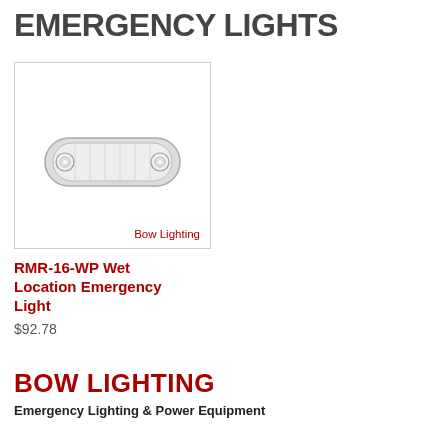EMERGENCY LIGHTS
[Figure (photo): Photo of RMR-16-WP Wet Location Emergency Light, a compact oblong white/grey fixture with two LED bulbs on each end, shown in a product card with a border. Brand label 'Bow Lighting' in red at bottom right of card.]
RMR-16-WP Wet Location Emergency Light
$92.78
BOW LIGHTING
Emergency Lighting & Power Equipment